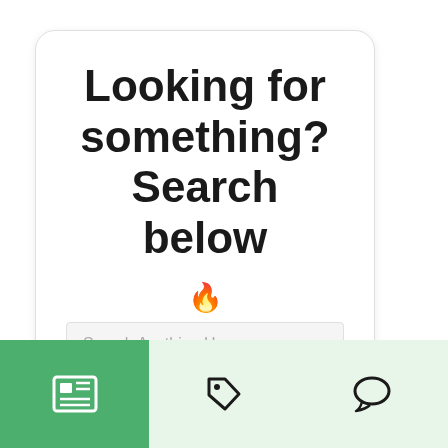Looking for something? Search below
[Figure (illustration): Fire emoji flame icon]
Search Anything Here
GO
[Figure (infographic): Bottom navigation bar with three tabs: active news/articles tab (green background), tag/price icon tab, and chat/comment icon tab on light green background]